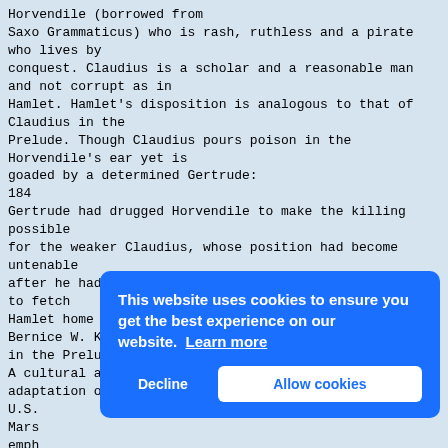Horvendile (borrowed from Saxo Grammaticus) who is rash, ruthless and a pirate who lives by conquest. Claudius is a scholar and a reasonable man and not corrupt as in Hamlet. Hamlet's disposition is analogous to that of Claudius in the Prelude. Though Claudius pours poison in the Horvendile's ear yet is goaded by a determined Gertrude: 184 Gertrude had drugged Horvendile to make the killing possible for the weaker Claudius, whose position had become untenable after he had openly disobeyed Horvendile in failing to fetch Hamlet home from Wittenberg (Kliman 96). Bernice W. Kliman considers these changes trespassing in the Prelude. A cultural adaptation of Shakespeare's Hamlet in U.S. Mars emph valu have Sha ente mix film Engl his students. The
[Figure (screenshot): Cookie consent overlay popup with blue background. Text reads 'This website uses cookies to ensure you get the best experience on our website. Learn more' with two buttons: 'Decline' and 'Allow cookies'.]